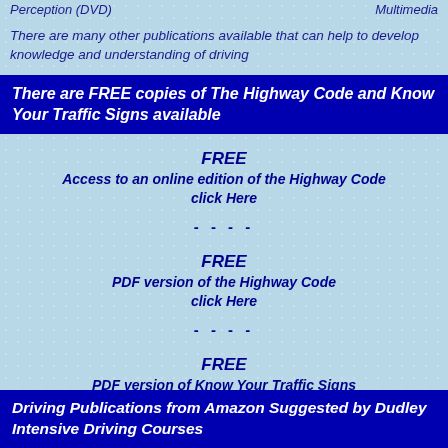Perception (DVD)    Multimedia
There are many other publications available that can help to develop knowledge and understanding of driving
There are FREE copies of The Highway Code and Know Your Traffic Signs available
FREE
Access to an online edition of the Highway Code click Here
- - - -
FREE
PDF version of the Highway Code click Here
- - - -
FREE
PDF version of Know Your Traffic Signs click Here
- - - -
Driving Publications from Amazon Suggested by Dudley Intensive Driving Courses